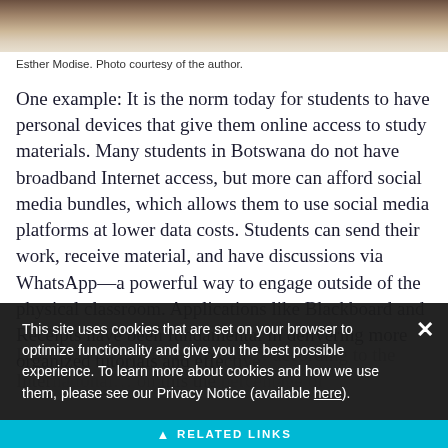[Figure (photo): Partial photo of Esther Modise, showing lower portion of face/neck and white shirt collar against dark background.]
Esther Modise. Photo courtesy of the author.
One example: It is the norm today for students to have personal devices that give them online access to study materials. Many students in Botswana do not have broadband Internet access, but more can afford social media bundles, which allows them to use social media platforms at lower data costs. Students can send their work, receive material, and have discussions via WhatsApp—a powerful way to engage outside of the physical classroom. Applications like Blackboard and Receipts have been fundamental in delivering more organized tutorials and effe...
But... according to the International... the percentage of...
This site uses cookies that are set on your browser to optimize functionality and give you the best possible experience. To learn more about cookies and how we use them, please see our Privacy Notice (available here).